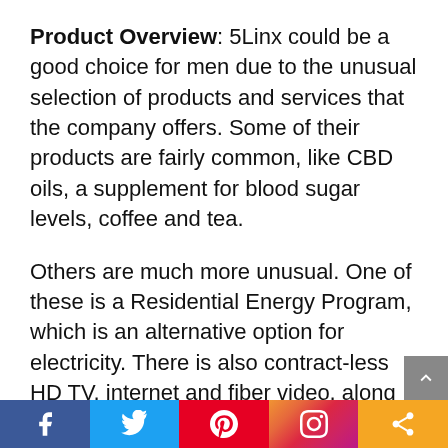Product Overview: 5Linx could be a good choice for men due to the unusual selection of products and services that the company offers. Some of their products are fairly common, like CBD oils, a supplement for blood sugar levels, coffee and tea.
Others are much more unusual. One of these is a Residential Energy Program, which is an alternative option for electricity. There is also contract-less HD TV, internet and fiber video, along with a home security program, credit score analysis and identity protection.
That isn't even all of their services. Not only is there a wider selection than normal, but